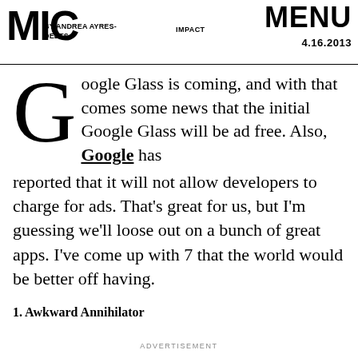MIC | BY ANDREA AYRES-DEETS | IMPACT | MENU 4.16.2013
Google Glass is coming, and with that comes some news that the initial Google Glass will be ad free. Also, Google has reported that it will not allow developers to charge for ads. That's great for us, but I'm guessing we'll loose out on a bunch of great apps. I've come up with 7 that the world would be better off having.
1. Awkward Annihilator
ADVERTISEMENT